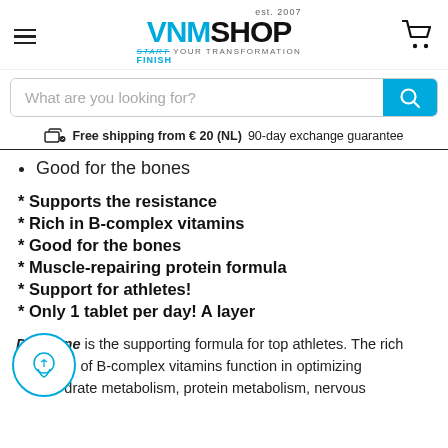VNM SHOP — est. 2007 — START YOUR TRANSFORMATION — FINISH
What are you looking for?
Free shipping from € 20 (NL) 90-day exchange guarantee
Good for the bones
* Supports the resistance
* Rich in B-complex vitamins
* Good for the bones
* Muscle-repairing protein formula
* Support for athletes!
* Only 1 tablet per day! A layer
Daily one is the supporting formula for top athletes. The rich of B-complex vitamins function in optimizing drate metabolism, protein metabolism, nervous